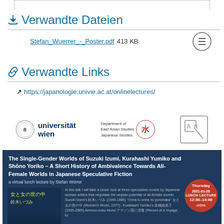Verwandte Dateien
Stefan_Wuerrer_-_Poster.pdf 413 KB
Verwandte Links
https://japanologie.univie.ac.at/onlinelectures/
[Figure (logo): Universität Wien logo, Department of East Asian Studies Japanese Studies logo, and AAJ logo]
[Figure (infographic): Event poster for 'The Single-Gender Worlds of Suzuki Izumi, Kurahashi Yumiko and Shōno Yoriko – A Short History of Ambivalence Towards All-Female Worlds in Japanese Speculative Fiction', a virtual lunch lecture by Stefan Würrer, Thursday 2021-01-28, LUNCH LECTURE 12:30–14:00, online]